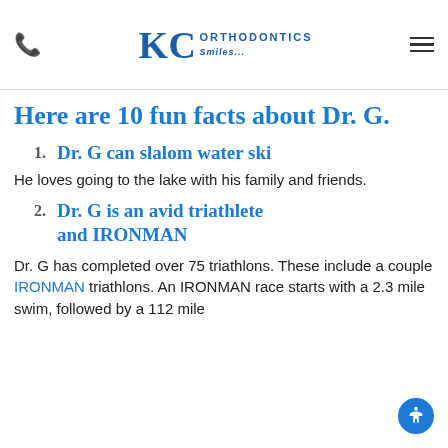KC Orthodontics
Here are 10 fun facts about Dr. G.
1. Dr. G can slalom water ski
He loves going to the lake with his family and friends.
2. Dr. G is an avid triathlete and IRONMAN
Dr. G has completed over 75 triathlons. These include a couple IRONMAN triathlons. An IRONMAN race starts with a 2.3 mile swim, followed by a 112 mile